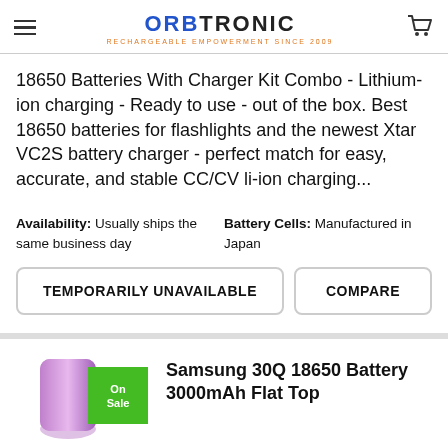ORBTRONIC — RECHARGEABLE EMPOWERMENT SINCE 2009
18650 Batteries With Charger Kit Combo - Lithium-ion charging - Ready to use - out of the box. Best 18650 batteries for flashlights and the newest Xtar VC2S battery charger - perfect match for easy, accurate, and stable CC/CV li-ion charging...
Availability: Usually ships the same business day | Battery Cells: Manufactured in Japan
TEMPORARILY UNAVAILABLE   COMPARE
Samsung 30Q 18650 Battery 3000mAh Flat Top